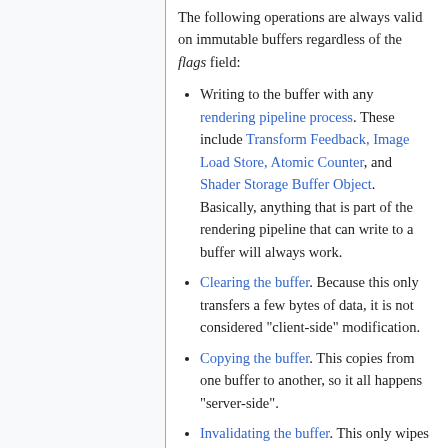The following operations are always valid on immutable buffers regardless of the flags field:
Writing to the buffer with any rendering pipeline process. These include Transform Feedback, Image Load Store, Atomic Counter, and Shader Storage Buffer Object. Basically, anything that is part of the rendering pipeline that can write to a buffer will always work.
Clearing the buffer. Because this only transfers a few bytes of data, it is not considered "client-side" modification.
Copying the buffer. This copies from one buffer to another, so it all happens "server-side".
Invalidating the buffer. This only wipes out the contents of the buffer, so it is considered "server-side".